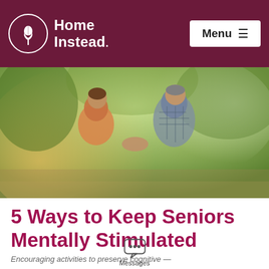Home Instead. Menu ≡
[Figure (photo): Two seniors dancing outdoors, smiling, holding hands, with green trees in the background lit by warm sunlight.]
5 Ways to Keep Seniors Mentally Stimulated
Encouraging activities to preserve cognitive...